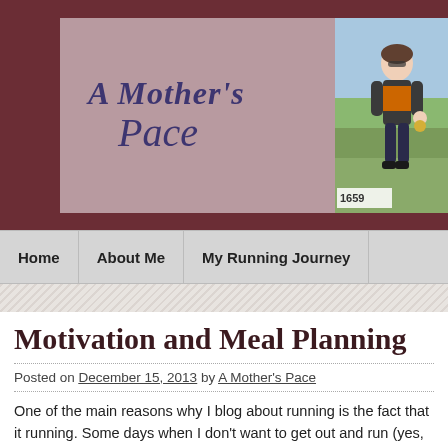[Figure (screenshot): Blog header banner with dark red background. Center section shows a mauve/pink rectangle with the blog title 'A Mother's Pace' in purple italic serif font. Right side shows a photo of a woman runner wearing an orange scarf/medal at a race, with race number 1659 visible.]
Home | About Me | My Running Journey
Motivation and Meal Planning
Posted on December 15, 2013 by A Mother's Pace
One of the main reasons why I blog about running is the fact that it running. Some days when I don't want to get out and run (yes, that h about the big 0 that would be on my training log for the week. Most